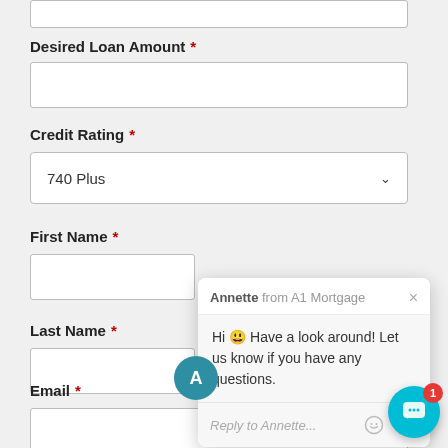Desired Loan Amount *
Credit Rating *
740 Plus
First Name *
Last Name *
Email *
[Figure (screenshot): Chat popup from Annette from A1 Mortgage with message: Hi 😀 Have a look around! Let us know if you have any questions. Reply input field with emoji and attachment icons.]
[Figure (infographic): Teal chat launcher button with notification badge showing '1']